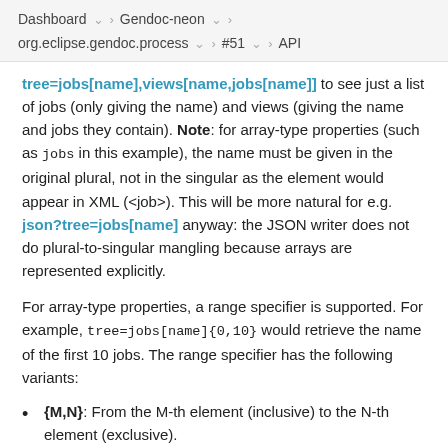Dashboard > Gendoc-neon > org.eclipse.gendoc.process > #51 > API
tree=jobs[name],views[name,jobs[name]] to see just a list of jobs (only giving the name) and views (giving the name and jobs they contain). Note: for array-type properties (such as jobs in this example), the name must be given in the original plural, not in the singular as the element would appear in XML (<job>). This will be more natural for e.g. json?tree=jobs[name] anyway: the JSON writer does not do plural-to-singular mangling because arrays are represented explicitly.
For array-type properties, a range specifier is supported. For example, tree=jobs[name]{0,10} would retrieve the name of the first 10 jobs. The range specifier has the following variants:
{M,N}: From the M-th element (inclusive) to the N-th element (exclusive).
{M,}: From the M-th element (inclusive) to the end.
{,N}: From the first element (inclusive) to the N-th